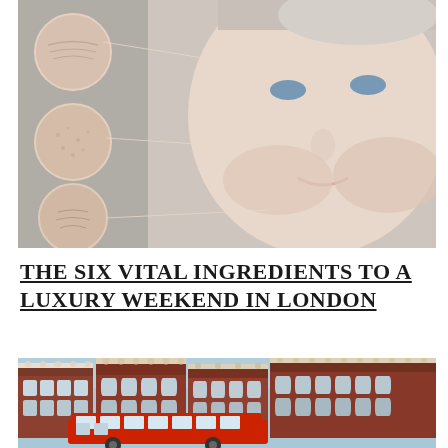[Figure (photo): Woman touching her face with skin close-up circles showing wrinkles, pores, and fine lines with connector lines pointing to corresponding areas on her face]
THE SIX VITAL INGREDIENTS TO A LUXURY WEEKEND IN LONDON
[Figure (photo): Victorian-era red brick London buildings with ornate white decorative elements and a red double-decker bus in the foreground]